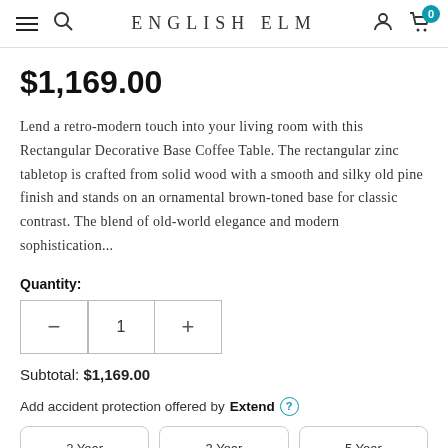ENGLISH ELM
$1,169.00
Lend a retro-modern touch into your living room with this Rectangular Decorative Base Coffee Table. The rectangular zinc tabletop is crafted from solid wood with a smooth and silky old pine finish and stands on an ornamental brown-toned base for classic contrast. The blend of old-world elegance and modern sophistication...
Quantity:
Subtotal: $1,169.00
Add accident protection offered by Extend ?
| 2 Year | 3 Year | 5 Year |
| --- | --- | --- |